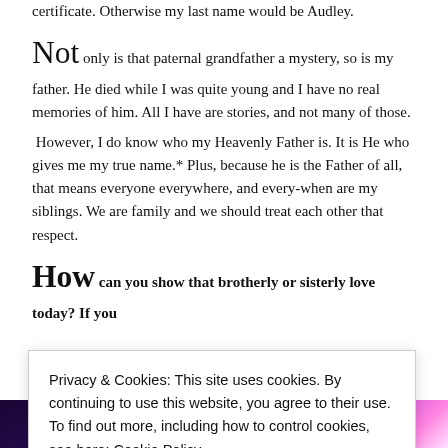certificate. Otherwise my last name would be Audley.
Not only is that paternal grandfather a mystery, so is my father. He died while I was quite young and I have no real memories of him. All I have are stories, and not many of those.
However, I do know who my Heavenly Father is. It is He who gives me my true name.* Plus, because he is the Father of all, that means everyone everywhere, and every-when are my siblings. We are family and we should treat each other that respect.
How can you show that brotherly or sisterly love today? If you
Privacy & Cookies: This site uses cookies. By continuing to use this website, you agree to their use. To find out more, including how to control cookies, see here: Cookie Policy
Close and accept